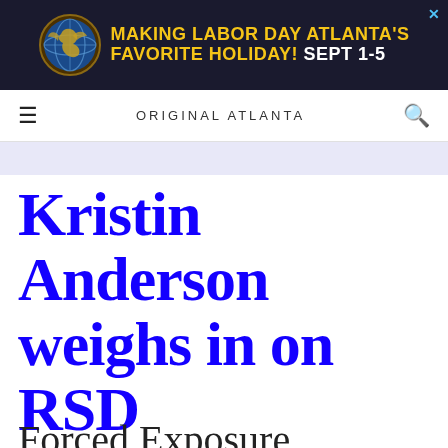[Figure (other): Dragon Con advertisement banner: dark navy background with Dragon Con logo (globe with dragon), yellow bold text 'MAKING LABOR DAY ATLANTA'S FAVORITE HOLIDAY!' and white text 'SEPT 1-5']
ORIGINAL ATLANTA
Kristin Anderson weighs in on RSD
Forced Exposure